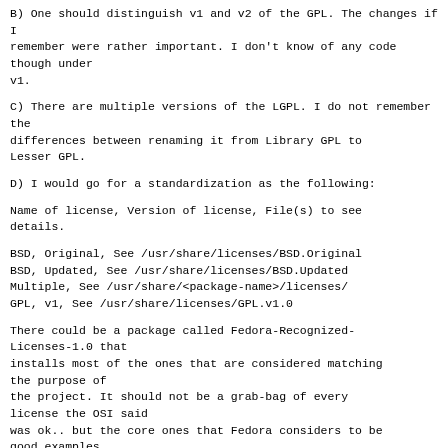B) One should distinguish v1 and v2 of the GPL. The changes if I remember were rather important. I don't know of any code though under v1.
C) There are multiple versions of the LGPL. I do not remember the differences between renaming it from Library GPL to Lesser GPL.
D) I would go for a standardization as the following:
Name of license, Version of license, File(s) to see details.
BSD, Original, See /usr/share/licenses/BSD.Original
BSD, Updated, See /usr/share/licenses/BSD.Updated
Multiple, See /usr/share/<package-name>/licenses/
GPL, v1, See /usr/share/licenses/GPL.v1.0
There could be a package called Fedora-Recognized-Licenses-1.0 that installs most of the ones that are considered matching the purpose of the project. It should not be a grab-bag of every license the OSI said was ok.. but the core ones that Fedora considers to be good examples of the central values of Liberty, Equality, and ...